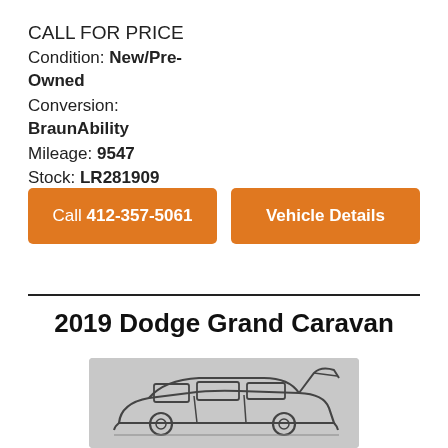CALL FOR PRICE
Condition: New/Pre-Owned
Conversion: BraunAbility
Mileage: 9547
Stock: LR281909
[Figure (logo): MobilityWorks logo with green and blue M-shaped icon and text 'mobilityworks']
Call 412-357-5061
Vehicle Details
2019 Dodge Grand Caravan
[Figure (illustration): Line drawing of a Dodge Grand Caravan minivan with rear hatch open, on a gray background]